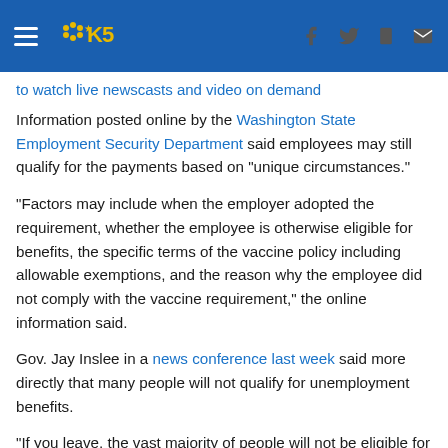KING5 News header with hamburger menu, logo, and social icons
to watch live newscasts and video on demand
Information posted online by the Washington State Employment Security Department said employees may still qualify for the payments based on "unique circumstances."
"Factors may include when the employer adopted the requirement, whether the employee is otherwise eligible for benefits, the specific terms of the vaccine policy including allowable exemptions, and the reason why the employee did not comply with the vaccine requirement," the online information said.
Gov. Jay Inslee in a news conference last week said more directly that many people will not qualify for unemployment benefits.
"If you leave, the vast majority of people will not be eligible for unemployment compensation either, so people will be without a paycheck the day that they're discharged," Inslee